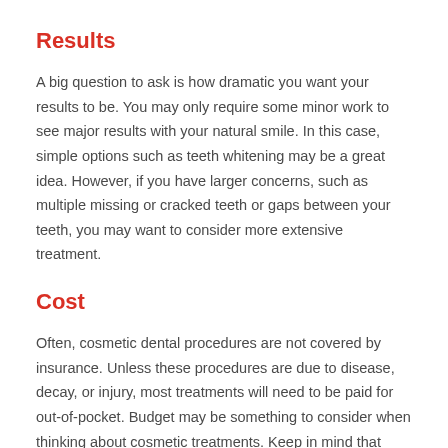Results
A big question to ask is how dramatic you want your results to be. You may only require some minor work to see major results with your natural smile. In this case, simple options such as teeth whitening may be a great idea. However, if you have larger concerns, such as multiple missing or cracked teeth or gaps between your teeth, you may want to consider more extensive treatment.
Cost
Often, cosmetic dental procedures are not covered by insurance. Unless these procedures are due to disease, decay, or injury, most treatments will need to be paid for out-of-pocket. Budget may be something to consider when thinking about cosmetic treatments. Keep in mind that financing might also be an option.